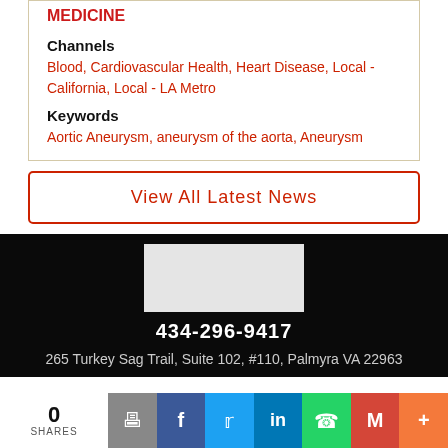MEDICINE
Channels
Blood, Cardiovascular Health, Heart Disease, Local - California, Local - LA Metro
Keywords
Aortic Aneurysm, aneurysm of the aorta, Aneurysm
View All Latest News
[Figure (other): Logo placeholder white rectangle]
434-296-9417
265 Turkey Sag Trail, Suite 102, #110, Palmyra VA 22963
0 SHARES | print | facebook | twitter | linkedin | whatsapp | gmail | more